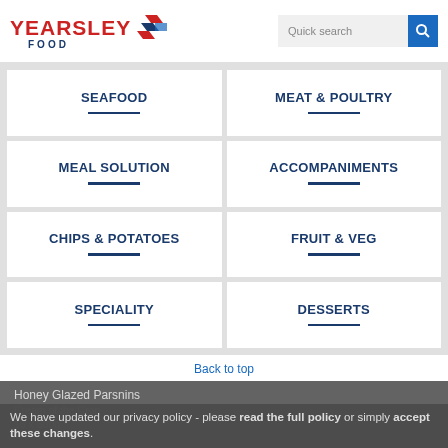[Figure (logo): Yearsley Food logo with red text YEARSLEY, blue FOOD text, and red/blue diamond shapes]
Quick search
SEAFOOD
MEAT & POULTRY
MEAL SOLUTION
ACCOMPANIMENTS
CHIPS & POTATOES
FRUIT & VEG
SPECIALITY
DESSERTS
Back to top
Honey Glazed Parsnins
Cream of the Crop
16 x 600g
We have updated our privacy policy - please read the full policy or simply accept these changes.